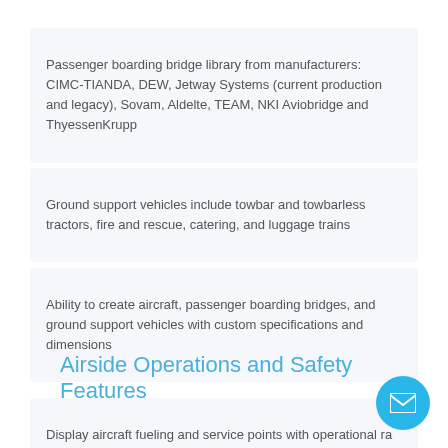Passenger boarding bridge library from manufacturers: CIMC-TIANDA, DEW, Jetway Systems (current production and legacy), Sovam, Aldelte, TEAM, NKI Aviobridge and ThyessenKrupp
Ground support vehicles include towbar and towbarless tractors, fire and rescue, catering, and luggage trains
Ability to create aircraft, passenger boarding bridges, and ground support vehicles with custom specifications and dimensions
Airside Operations and Safety Features
Display aircraft fueling and service points with operational ra...